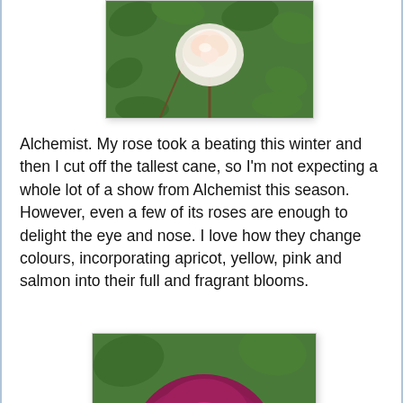[Figure (photo): A pale cream/white rose bloom with pink tones among green leaves, partially cropped at top]
Alchemist. My rose took a beating this winter and then I cut off the tallest cane, so I’m not expecting a whole lot of a show from Alchemist this season. However, even a few of its roses are enough to delight the eye and nose. I love how they change colours, incorporating apricot, yellow, pink and salmon into their full and fragrant blooms.
[Figure (photo): A deep magenta/crimson fully open rose bloom with ruffled petals surrounded by green leaves, partially cropped at bottom]